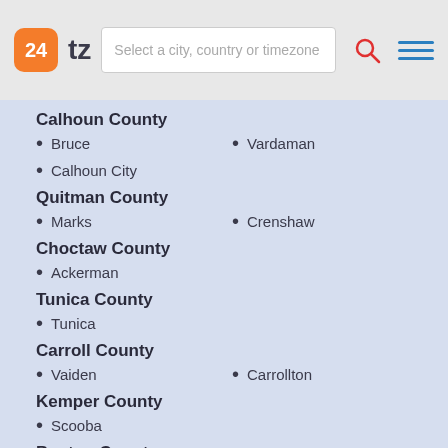24tz — Select a city, country or timezone
Calhoun County
Bruce
Vardaman
Calhoun City
Quitman County
Marks
Crenshaw
Choctaw County
Ackerman
Tunica County
Tunica
Carroll County
Vaiden
Carrollton
Kemper County
Scooba
Benton County
Ashland
Michigan City